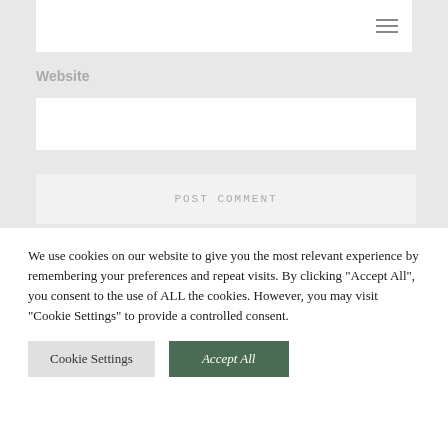[Figure (screenshot): Navigation bar with hamburger menu icon on white background]
Website
[Figure (screenshot): White input text field]
[Figure (screenshot): POST COMMENT button in light gray]
We use cookies on our website to give you the most relevant experience by remembering your preferences and repeat visits. By clicking “Accept All”, you consent to the use of ALL the cookies. However, you may visit "Cookie Settings" to provide a controlled consent.
Cookie Settings
Accept All